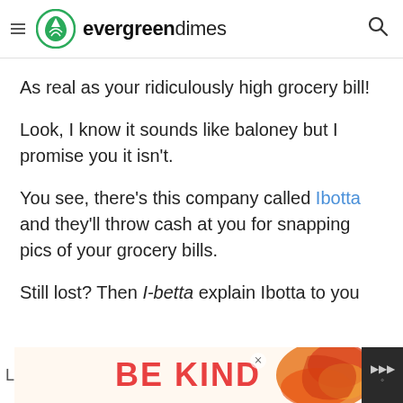evergreendimes
As real as your ridiculously high grocery bill!
Look, I know it sounds like baloney but I promise you it isn't.
You see, there's this company called Ibotta and they'll throw cash at you for snapping pics of your grocery bills.
Still lost? Then I-betta explain Ibotta to you
[Figure (other): Advertisement banner showing 'BE KIND' text in red with decorative orange/red floral design on the right side]